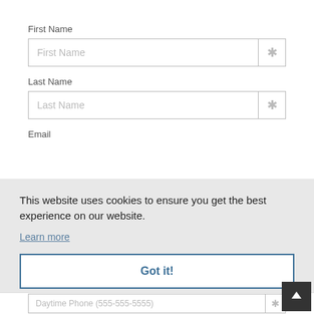First Name
[Figure (screenshot): Form input field for First Name with asterisk required indicator]
Last Name
[Figure (screenshot): Form input field for Last Name with asterisk required indicator]
Email
This website uses cookies to ensure you get the best experience on our website.
Learn more
Got it!
[Figure (screenshot): Partially visible Daytime Phone input field with asterisk required indicator at bottom of page]
[Figure (screenshot): Scroll to top arrow button in dark square at bottom right]